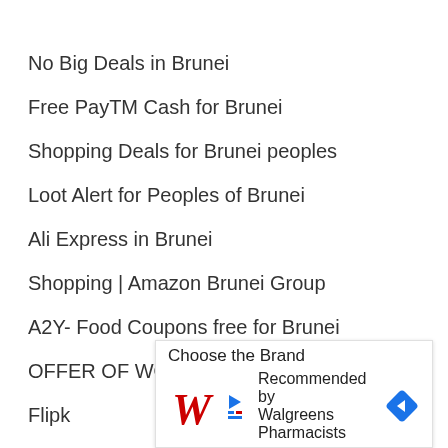No Big Deals in Brunei
Free PayTM Cash for Brunei
Shopping Deals for Brunei peoples
Loot Alert for Peoples of Brunei
Ali Express in Brunei
Shopping | Amazon Brunei Group
A2Y- Food Coupons free for Brunei
OFFER OF WORLD
Flipk
Offe
[Figure (screenshot): Advertisement overlay showing Walgreens logo with text 'Choose the Brand Recommended by Walgreens Pharmacists' and a blue navigation arrow icon]